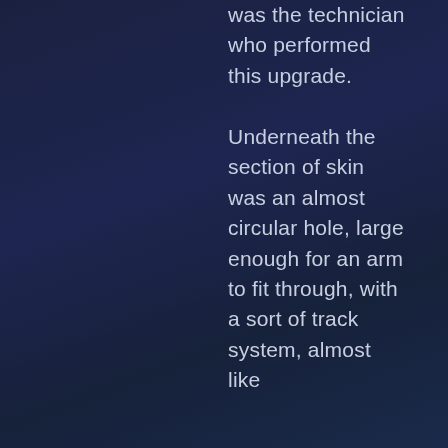was the technician who performed this upgrade. Underneath the section of skin was an almost circular hole, large enough for an arm to fit through, with a sort of track system, almost like